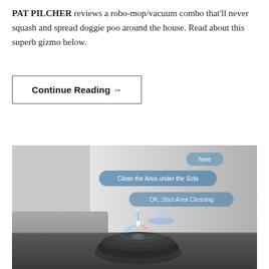PAT PILCHER reviews a robo-mop/vacuum combo that'll never squash and spread doggie poo around the house. Read about this superb gizmo below.
Continue Reading →
[Figure (photo): A robotic vacuum cleaner on a dark floor with a holographic AI assistant projection showing floating icons and speech bubble UI overlays reading 'Clean the Area under the Sofa' and 'OK, Start Area Cleaning' and 'here', with a pin location marker visible.]